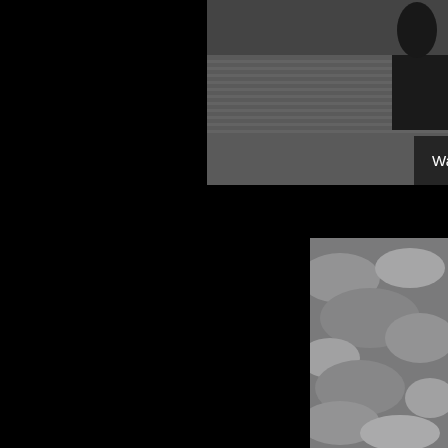[Figure (screenshot): Top-right: A YouTube video thumbnail/screenshot showing a person with dark hair partially visible, a striped/ridged gray background surface, and a dark overlay bar with 'Watch on YouTube' text and YouTube logo.]
[Figure (photo): Bottom-right: A blurry grayscale/monochrome photo showing rocky or snowy terrain.]